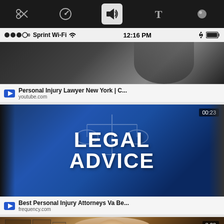[Figure (screenshot): Mobile app toolbar with icons: scissors, speedometer, audio speaker (highlighted in white box), letter T, and eraser/pen on black background]
[Figure (screenshot): iPhone status bar showing Sprint Wi-Fi signal, 12:16 PM, Bluetooth and battery icons]
[Figure (screenshot): First video thumbnail: Personal Injury Lawyer New York video from youtube.com showing man in suit]
[Figure (screenshot): Second video thumbnail: Legal Advice video (00:23) from frequency.com - Best Personal Injury Attorneys Va Be... showing blue graphic with LEGAL ADVICE text]
[Figure (screenshot): Third video thumbnail (3:28) showing a man in suit speaking, bookshelf in background - partial view]